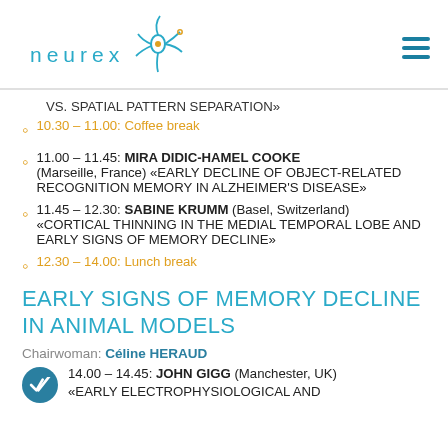[Figure (logo): Neurex logo with teal neuron graphic and teal lowercase text 'neurex', plus hamburger menu icon top right]
VS. SPATIAL PATTERN SEPARATION»
10.30 – 11.00: Coffee break
11.00 – 11.45: MIRA DIDIC-HAMEL COOKE (Marseille, France) «EARLY DECLINE OF OBJECT-RELATED RECOGNITION MEMORY IN ALZHEIMER'S DISEASE»
11.45 – 12.30: SABINE KRUMM (Basel, Switzerland) «CORTICAL THINNING IN THE MEDIAL TEMPORAL LOBE AND EARLY SIGNS OF MEMORY DECLINE»
12.30 – 14.00: Lunch break
EARLY SIGNS OF MEMORY DECLINE IN ANIMAL MODELS
Chairwoman: Céline HERAUD
14.00 – 14.45: JOHN GIGG (Manchester, UK) «EARLY ELECTROPHYSIOLOGICAL AND